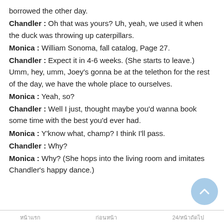borrowed the other day.
Chandler : Oh that was yours? Uh, yeah, we used it when the duck was throwing up caterpillars.
Monica : William Sonoma, fall catalog, Page 27.
Chandler : Expect it in 4-6 weeks. (She starts to leave.) Umm, hey, umm, Joey's gonna be at the telethon for the rest of the day, we have the whole place to ourselves.
Monica : Yeah, so?
Chandler : Well I just, thought maybe you'd wanna book some time with the best you'd ever had.
Monica : Y'know what, champ? I think I'll pass.
Chandler : Why?
Monica : Why? (She hops into the living room and imitates Chandler's happy dance.)
หน้าแรก        ก่อนหน้า        24/หน้าถัดไป